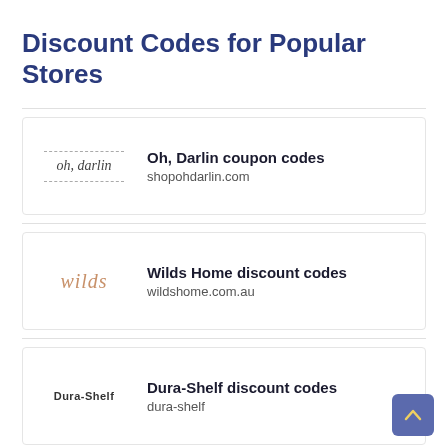Discount Codes for Popular Stores
Oh, Darlin coupon codes
shopohdarlin.com
Wilds Home discount codes
wildshome.com.au
Dura-Shelf discount codes
dura-shelf
Catalyst Activewear discount codes